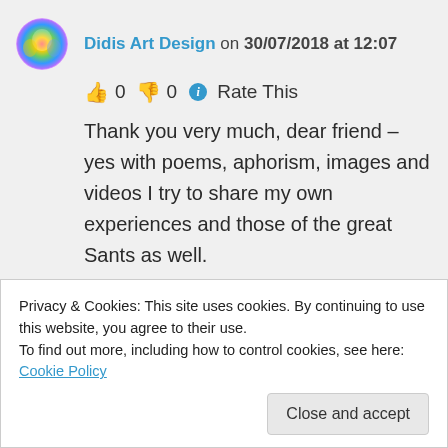Didis Art Design on 30/07/2018 at 12:07
👍 0 👎 0 ℹ Rate This
Thank you very much, dear friend – yes with poems, aphorism, images and videos I try to share my own experiences and those of the great Sants as well.

All good wishes
Didi
Privacy & Cookies: This site uses cookies. By continuing to use this website, you agree to their use.
To find out more, including how to control cookies, see here: Cookie Policy
Close and accept